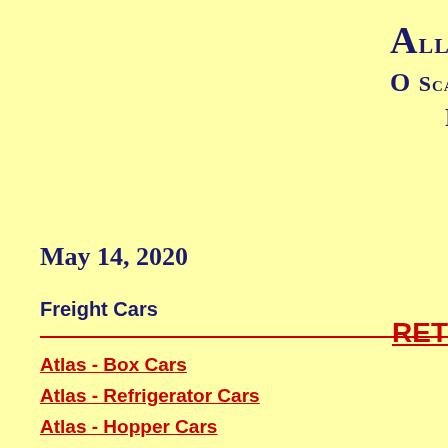Allegheny O Scale R... Fr...
RET...
May 14, 2020
Freight Cars
Atlas - Box Cars
Atlas - Refrigerator Cars
Atlas - Hopper Cars
Atlas - Covered Hopper Cars
Atlas - Tank Cars